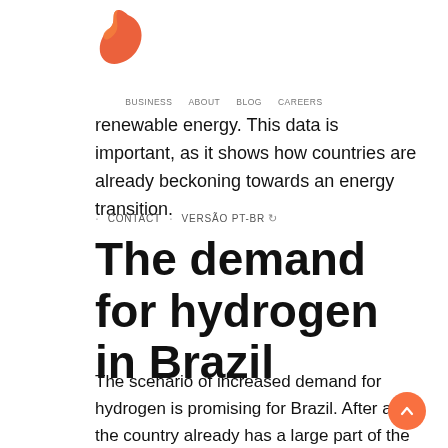[Figure (logo): Orange/red teardrop comma-shaped logo mark]
renewable energy. This data is important, as it shows how countries are already beckoning towards an energy transition.
BUSINESS  ABOUT  BLOG  CAREERS  •  CONTACT  •  VERSÃO PT-BR
The demand for hydrogen in Brazil
The scenario of increased demand for hydrogen is promising for Brazil. After all, the country already has a large part of the energy generation coming from clean sources. About 85% of Brazilian electricity is renewable and